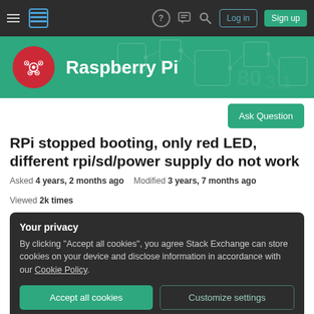Navigation bar with hamburger menu, Stack Exchange logo, help, chat, search icons, Log in and Sign up buttons
[Figure (logo): Raspberry Pi Stack Exchange green banner with Raspberry Pi logo (red circuit board raspberry icon) and white 'Raspberry Pi' text on green background with circuit board pattern]
Ask Question
RPi stopped booting, only red LED, different rpi/sd/power supply do not work
Asked 4 years, 2 months ago   Modified 3 years, 7 months ago   Viewed 2k times
Your privacy
By clicking "Accept all cookies", you agree Stack Exchange can store cookies on your device and disclose information in accordance with our Cookie Policy.
Accept all cookies   Customize settings
the rpi then does not boot and only shows the red